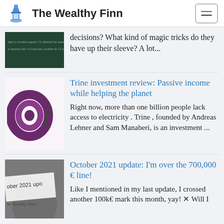The Wealthy Finn
decisions? What kind of magic tricks do they have up their sleeve? A lot...
Trine investment review: Passive income while helping the planet
Right now, more than one billion people lack access to electricity . Trine , founded by Andreas Lehner and Sam Manaberi, is an investment ...
October 2021 update: I'm over the 700,000 € line!
Like I mentioned in my last update, I crossed another 100k€ mark this month, yay! ☒ Will I